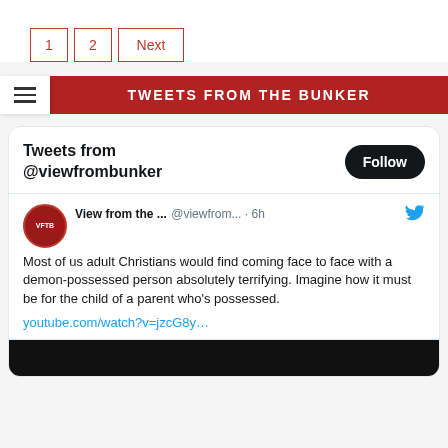1  2  Next
TWEETS FROM THE BUNKER
Tweets from @viewfrombunker
View from the ...  @viewfrom...  · 6h
Most of us adult Christians would find coming face to face with a demon-possessed person absolutely terrifying. Imagine how it must be for the child of a parent who's possessed.
youtube.com/watch?v=jzcG8y...